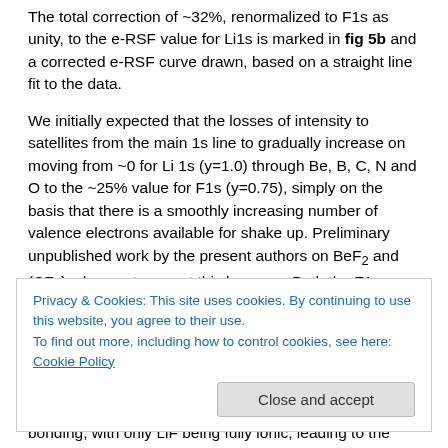The total correction of ~32%, renormalized to F1s as unity, to the e-RSF value for Li1s is marked in fig 5b and a corrected e-RSF curve drawn, based on a straight line fit to the data.
We initially expected that the losses of intensity to satellites from the main 1s line to gradually increase on moving from ~0 for Li 1s (y=1.0) through Be, B, C, N and O to the ~25% value for F1s (y=0.75), simply on the basis that there is a smoothly increasing number of valence electrons available for shake up. Preliminary unpublished work by the present authors on BeF2 and (CF2)n does not support this however. Both the F1s
Privacy & Cookies: This site uses cookies. By continuing to use this website, you agree to their use.
To find out more, including how to control cookies, see here: Cookie Policy
bonding, with only LiF being fully ionic, leading to the